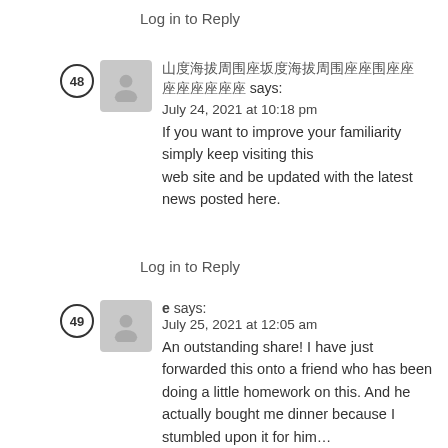Log in to Reply
[garbled text] says:
July 24, 2021 at 10:18 pm
If you want to improve your familiarity simply keep visiting this
web site and be updated with the latest news posted here.
Log in to Reply
e says:
July 25, 2021 at 12:05 am
An outstanding share! I have just forwarded this onto a friend who has been doing a little homework on this. And he actually bought me dinner because I stumbled upon it for him…
lol. So allow me to reword this…. Thanks for the